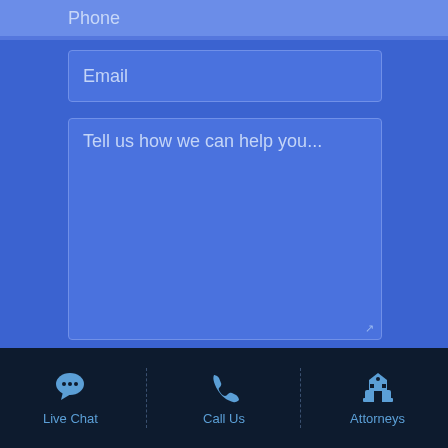Phone
Email
Tell us how we can help you...
Please do not submit any confidential or sensitive information. Submission of the form does not create an attorney-client relationship.
[Figure (screenshot): reCAPTCHA widget with checkbox labeled I'm not a robot]
submit
Live Chat
Call Us
Attorneys